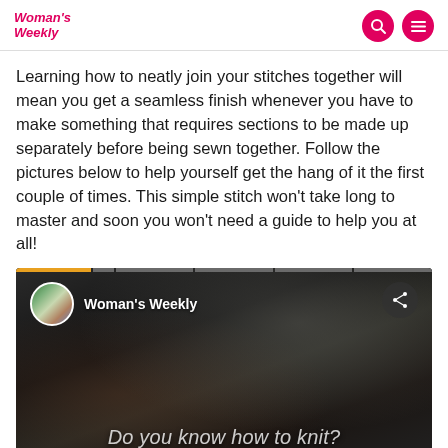Woman's Weekly
Learning how to neatly join your stitches together will mean you get a seamless finish whenever you have to make something that requires sections to be made up separately before being sewn together. Follow the pictures below to help yourself get the hang of it the first couple of times. This simple stitch won't take long to master and soon you won't need a guide to help you at all!
[Figure (screenshot): Embedded video player showing a blurred knitting machine background with 'Woman's Weekly' channel avatar and name at top left, a share icon at top right, a progress bar at the very top, and the caption 'Do you know how to knit?' at the bottom in white italic text.]